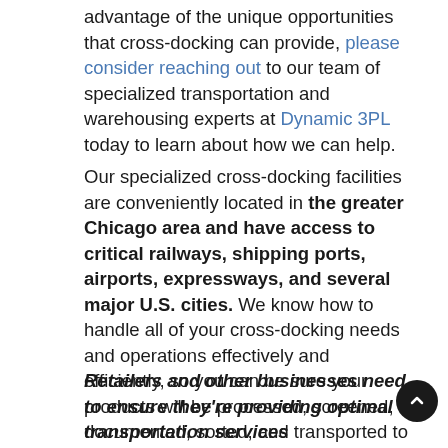advantage of the unique opportunities that cross-docking can provide, please consider reaching out to our team of specialized transportation and warehousing experts at Dynamic 3PL today to learn about how we can help.
Our specialized cross-docking facilities are conveniently located in the greater Chicago area and have access to critical railways, shipping ports, airports, expressways, and several major U.S. cities. We know how to handle all of your cross-docking needs and operations effectively and efficiently, so you can be sure your products will be processed, screened, documented, sorted, and transported to their needed destination in record time.
Retailers and other businesses need to ensure they're providing optimal transportation services